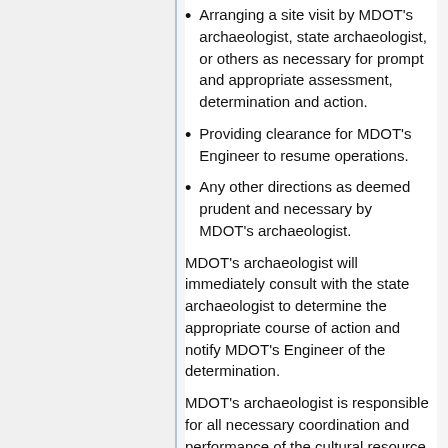Arranging a site visit by MDOT's archaeologist, state archaeologist, or others as necessary for prompt and appropriate assessment, determination and action.
Providing clearance for MDOT's Engineer to resume operations.
Any other directions as deemed prudent and necessary by MDOT's archaeologist.
MDOT's archaeologist will immediately consult with the state archaeologist to determine the appropriate course of action and notify MDOT's Engineer of the determination.
MDOT's archaeologist is responsible for all necessary coordination and performance of the cultural resource work required by MDOT, including